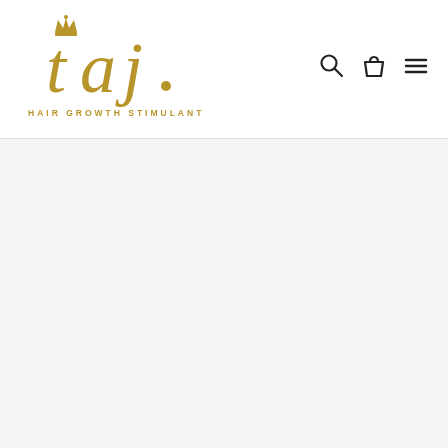[Figure (logo): Taj Hair Growth Stimulant logo: stylized gold 'taj.' text with a crown above the 't', and tagline 'HAIR GROWTH STIMULANT' below in gold spaced letters]
[Figure (other): Navigation icons: search (magnifying glass), cart (shopping bag), and hamburger menu (three lines), displayed in dark grey on the top right of the header]